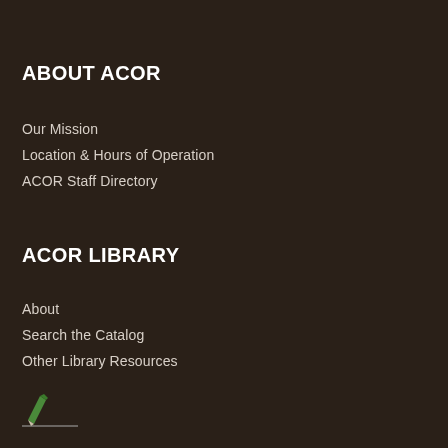ABOUT ACOR
Our Mission
Location & Hours of Operation
ACOR Staff Directory
ACOR LIBRARY
About
Search the Catalog
Other Library Resources
[Figure (logo): Small green pencil logo with a horizontal line beneath it]